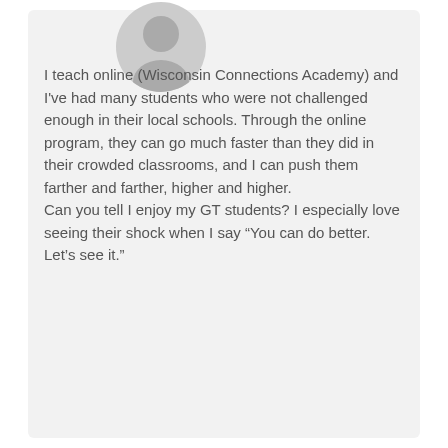[Figure (illustration): Circular avatar placeholder showing a generic person silhouette in light gray]
I teach online (Wisconsin Connections Academy) and I've had many students who were not challenged enough in their local schools. Through the online program, they can go much faster than they did in their crowded classrooms, and I can push them farther and farther, higher and higher.
Can you tell I enjoy my GT students? I especially love seeing their shock when I say “You can do better. Let’s see it.”